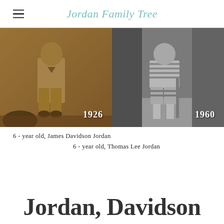Jordan Family Tree
[Figure (photo): Two historical photos side by side. Left: sepia-toned photo of a young boy (James Davidson Jordan) dated 1926. Right: black and white photo of a young boy (Thomas Lee Jordan) dated 1960.]
6 - year old, James Davidson Jordan
6 - year old, Thomas Lee Jordan
Jordan, Davidson